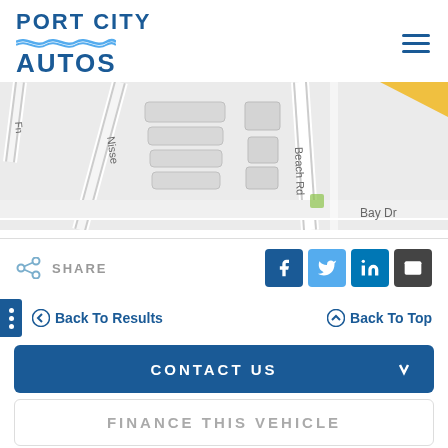[Figure (logo): Port City Autos logo with wave graphic and company name]
[Figure (map): Google Maps style street map showing Nisse street area, Beach Rd, Bay Dr, with buildings and road layout]
SHARE
[Figure (infographic): Social share buttons: Facebook (blue), Twitter (light blue), LinkedIn (blue), Email (dark)]
Back To Results
Back To Top
CONTACT US
FINANCE THIS VEHICLE